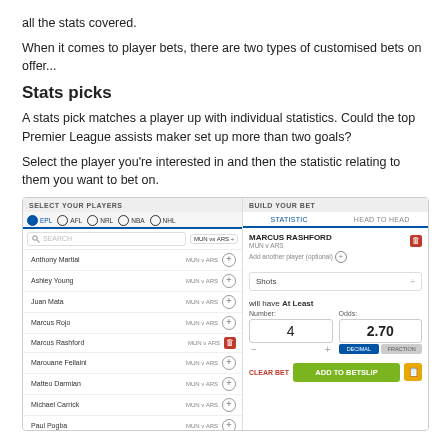all the stats covered.
When it comes to player bets, there are two types of customised bets on offer...
Stats picks
A stats pick matches a player up with individual statistics. Could the top Premier League assists maker set up more than two goals?
Select the player you're interested in and then the statistic relating to them you want to bet on.
[Figure (screenshot): A sports betting interface screenshot showing two panels: left panel titled 'SELECT YOUR PLAYERS' with a list of Manchester United vs Arsenal players including Anthony Martial, Ashley Young, Juan Mata, Marcus Rojo, Marcus Rashford, Marouane Fellaini, Matteo Darmian, Michael Carrick, Paul Pogba, Phil Jones with MUN v ARS labels and add/remove buttons. Right panel titled 'BUILD YOUR BET' showing Marcus Rashford selected, a Shots statistic dropdown, will have At Least setting with Number: 4 and Odds: 2.70, DECIMAL/FRACTIONAL toggle, CLEAR BET link and ADD TO BETSLIP green button.]